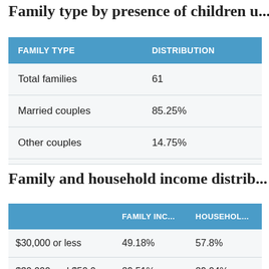Family type by presence of children u...
| FAMILY TYPE | DISTRIBUTION |
| --- | --- |
| Total families | 61 |
| Married couples | 85.25% |
| Other couples | 14.75% |
Family and household income distrib...
|  | FAMILY INC... | HOUSEHOL... |
| --- | --- | --- |
| $30,000 or less | 49.18% | 57.8% |
| $30,000 and $50,0... | 29.51% | 29.04% |